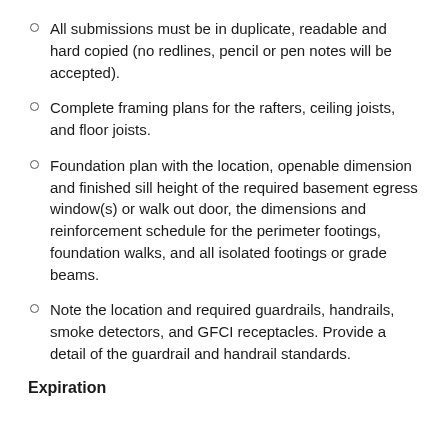All submissions must be in duplicate, readable and hard copied (no redlines, pencil or pen notes will be accepted).
Complete framing plans for the rafters, ceiling joists, and floor joists.
Foundation plan with the location, openable dimension and finished sill height of the required basement egress window(s) or walk out door, the dimensions and reinforcement schedule for the perimeter footings, foundation walks, and all isolated footings or grade beams.
Note the location and required guardrails, handrails, smoke detectors, and GFCI receptacles. Provide a detail of the guardrail and handrail standards.
Expiration